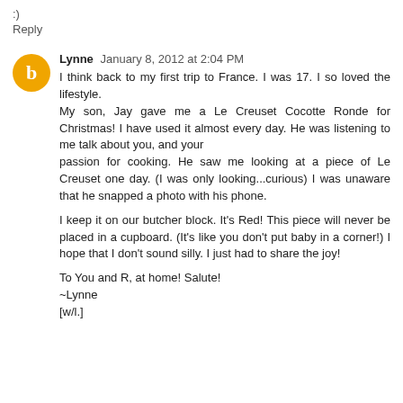:)
Reply
Lynne  January 8, 2012 at 2:04 PM
I think back to my first trip to France. I was 17. I so loved the lifestyle.
My son, Jay gave me a Le Creuset Cocotte Ronde for Christmas! I have used it almost every day. He was listening to me talk about you, and your
passion for cooking. He saw me looking at a piece of Le Creuset one day. (I was only looking...curious) I was unaware that he snapped a photo with his phone.

I keep it on our butcher block. It's Red! This piece will never be placed in a cupboard. (It's like you don't put baby in a corner!) I hope that I don't sound silly. I just had to share the joy!

To You and R, at home! Salute!
~Lynne
[w/l.]